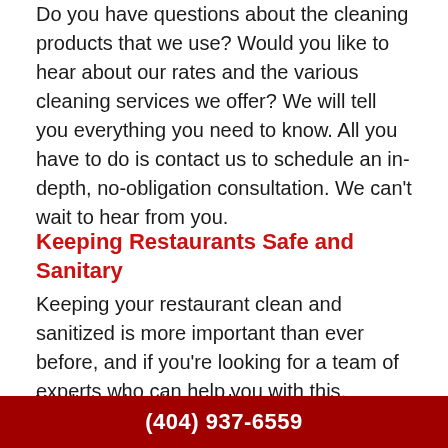Do you have questions about the cleaning products that we use? Would you like to hear about our rates and the various cleaning services we offer? We will tell you everything you need to know. All you have to do is contact us to schedule an in-depth, no-obligation consultation. We can't wait to hear from you.
Keeping Restaurants Safe and Sanitary
Keeping your restaurant clean and sanitized is more important than ever before, and if you're looking for a team of experts who can help you with this, Pristine Cleaning Services Of Georgia LLC is happy to be of service.
We love cleaning, and we know how important it is that your restaurant is spotless before every service. We are the team
(404) 937-6559